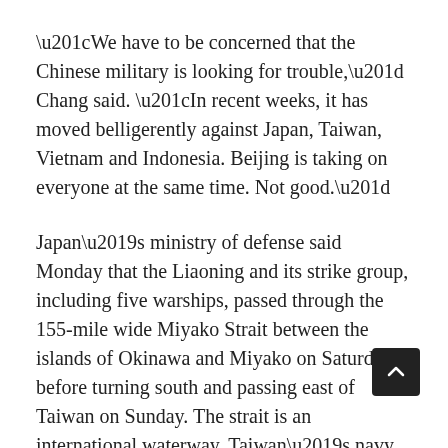“We have to be concerned that the Chinese military is looking for trouble,” Chang said. “In recent weeks, it has moved belligerently against Japan, Taiwan, Vietnam and Indonesia. Beijing is taking on everyone at the same time. Not good.”
Japan’s ministry of defense said Monday that the Liaoning and its strike group, including five warships, passed through the 155-mile wide Miyako Strait between the islands of Okinawa and Miyako on Saturday, before turning south and passing east of Taiwan on Sunday. The strait is an international waterway. Taiwan’s navy also sent ships to monitor the strike group as it passed on Sunday, according to Taiwan’s ministry of defense.
“We have to be concerned that...